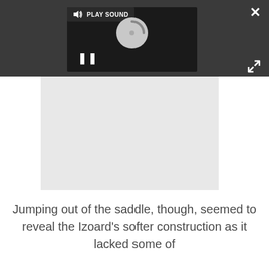[Figure (screenshot): Dark UI bar with a video player overlay showing a loading spinner, pause button, and PLAY SOUND button. A close (×) button and expand (arrows) button are on the right side.]
[Figure (other): Light gray media content area below the dark bar.]
Jumping out of the saddle, though, seemed to reveal the Izoard's softer construction as it lacked some of